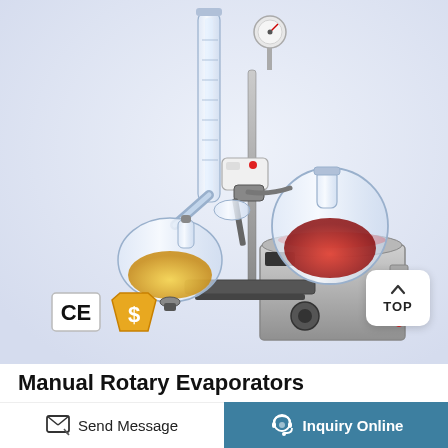[Figure (photo): Manual rotary evaporator laboratory equipment: glass condenser column, round-bottom flasks (one with yellow liquid, one with red liquid), heating water bath unit (grey metal box), pressure gauge, motor drive unit, metal support stand with base plate, CE certification mark and dollar/shield badge visible in lower left corner.]
Manual Rotary Evaporators
Send Message
Inquiry Online